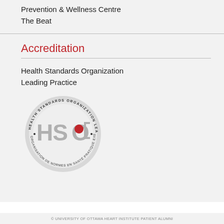Prevention & Wellness Centre
The Beat
Accreditation
Health Standards Organization
Leading Practice
[Figure (logo): Health Standards Organization Leading Practice seal — circular grey badge with 'HSO' letters and red dot, text around the rim reading 'HEALTH STANDARDS ORGANIZATION LEADING PRACTICE' and 'ORGANISATION DE NORMES EN SANTÉ PRATIQUE EXEMPLAIRE']
© UNIVERSITY OF OTTAWA HEART INSTITUTE PATIENT ALUMNI